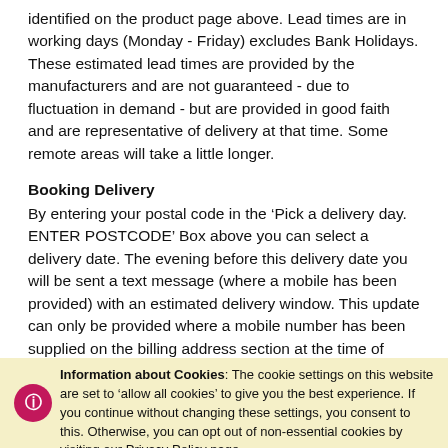identified on the product page above. Lead times are in working days (Monday - Friday) excludes Bank Holidays. These estimated lead times are provided by the manufacturers and are not guaranteed - due to fluctuation in demand - but are provided in good faith and are representative of delivery at that time. Some remote areas will take a little longer.
Booking Delivery
By entering your postal code in the ‘Pick a delivery day. ENTER POSTCODE’ Box above you can select a delivery date. The evening before this delivery date you will be sent a text message (where a mobile has been provided) with an estimated delivery window. This update can only be provided where a mobile number has been supplied on the billing address section at the time of checkout.
Upon Delivery
Delivery is made by Shire the manufacturer. Delivery of
Information about Cookies: The cookie settings on this website are set to ‘allow all cookies’ to give you the best experience. If you continue without changing these settings, you consent to this. Otherwise, you can opt out of non-essential cookies by visiting our Privacy Policy page.